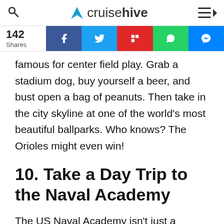cruisehive
[Figure (infographic): Social share bar showing 142 Shares with buttons for Facebook, Twitter, Flipboard, WhatsApp, and Messenger]
famous for center field play. Grab a stadium dog, buy yourself a beer, and bust open a bag of peanuts. Then take in the city skyline at one of the world’s most beautiful ballparks. Who knows? The Orioles might even win!
10. Take a Day Trip to the Naval Academy
The US Naval Academy isn’t just a source of competent officers; it’s also one of the most beautiful campuses on Earth. First founded in